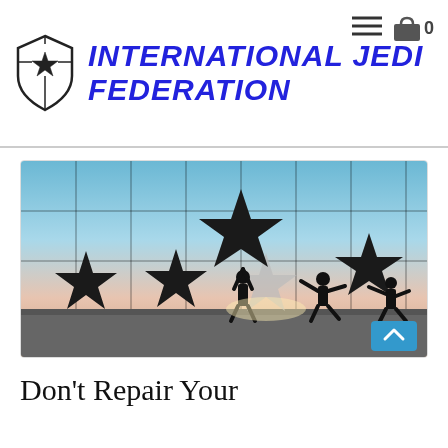INTERNATIONAL JEDI FEDERATION
[Figure (photo): Silhouettes of people holding large star shapes in front of a large window with a colorful sunset sky background. Stars arranged as a 5-star rating layout with 2 filled black stars on left, one partial, and two silhouetted figures placing stars on the right.]
Don't Repair Your